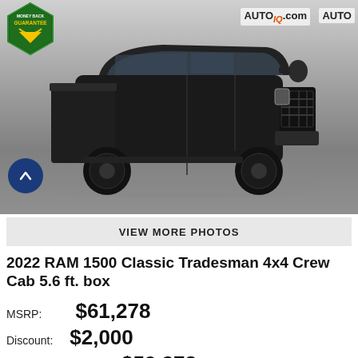[Figure (photo): Black 2022 RAM 1500 Classic Tradesman 4x4 Crew Cab pickup truck parked in a lot, front three-quarter view. AutoIQ.com watermark visible. Money Back Guarantee badge in upper left corner.]
VIEW MORE PHOTOS
2022 RAM 1500 Classic Tradesman 4x4 Crew Cab 5.6 ft. box
MSRP: $61,278
Discount: $2,000
$59,278